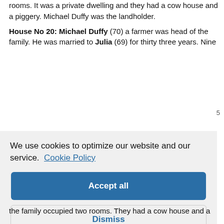rooms. It was a private dwelling and they had a cow house and a piggery. Michael Duffy was the landholder.
House No 20: Michael Duffy (70) a farmer was head of the family. He was married to Julia (69) for thirty three years. Nine
[Figure (screenshot): Cookie consent overlay with text 'We use cookies to optimize our website and our service. Cookie Policy' and three buttons: 'Accept all' (blue filled), 'Dismiss' (light grey), 'Preferences' (white with blue border)]
the family occupied two rooms. They had a cow house and a